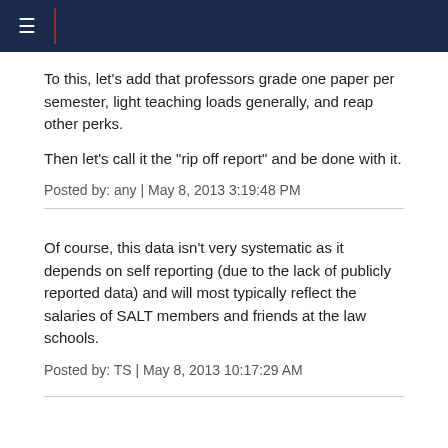Navigation bar
To this, let's add that professors grade one paper per semester, light teaching loads generally, and reap other perks.
Then let's call it the "rip off report" and be done with it.
Posted by: any | May 8, 2013 3:19:48 PM
Of course, this data isn't very systematic as it depends on self reporting (due to the lack of publicly reported data) and will most typically reflect the salaries of SALT members and friends at the law schools.
Posted by: TS | May 8, 2013 10:17:29 AM